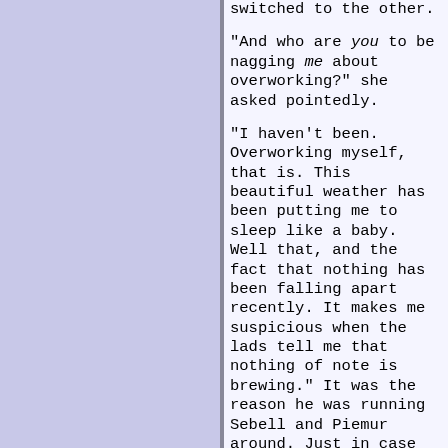switched to the other.
"And who are you to be nagging me about overworking?" she asked pointedly.
"I haven't been. Overworking myself, that is. This beautiful weather has been putting me to sleep like a baby. Well that, and the fact that nothing has been falling apart recently. It makes me suspicious when the lads tell me that nothing of note is brewing." It was the reason he was running Sebell and Piemur around. Just in case they found something the others hadn't.
"You're never content unless you have your finger in a pie, are you?"
Robinton made a noise. "Back to the pies, are we?" he asked rhetorically, rubbing the spots he knew were sore with sensitive thumbs.
"Mmm," she said. "That does feel nice."